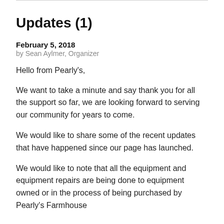Updates (1)
February 5, 2018
by Sean Aylmer, Organizer
Hello from Pearly's,
We want to take a minute and say thank you for all the support so far, we are looking forward to serving our community for years to come.
We would like to share some of the recent updates that have happened since our page has launched.
We would like to note that all the equipment and equipment repairs are being done to equipment owned or in the process of being purchased by Pearly's Farmhouse